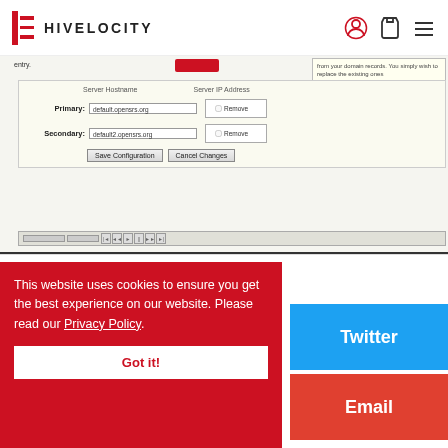HIVELOCITY
[Figure (screenshot): Screenshot of a server configuration form showing Primary and Secondary server hostnames (default.opensrs.org, default2.opensrs.org), Remove checkboxes, Save Configuration and Cancel Changes buttons, and a scrollbar.]
This website uses cookies to ensure you get the best experience on our website. Please read our Privacy Policy.
Got it!
Twitter
Email
WhatsApp